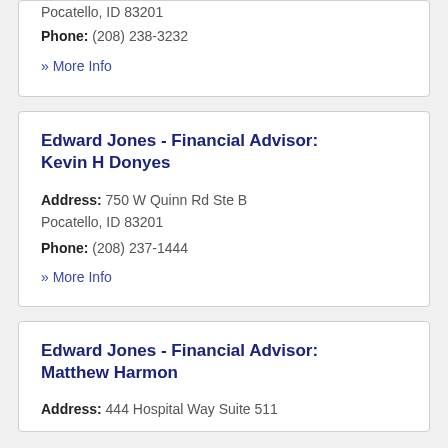Pocatello, ID 83201
Phone: (208) 238-3232
» More Info
Edward Jones - Financial Advisor: Kevin H Donyes
Address: 750 W Quinn Rd Ste B Pocatello, ID 83201
Phone: (208) 237-1444
» More Info
Edward Jones - Financial Advisor: Matthew Harmon
Address: 444 Hospital Way Suite 511